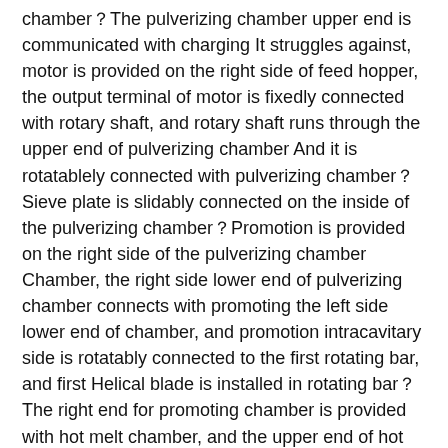chamber。The pulverizing chamber upper end is communicated with charging It struggles against, motor is provided on the right side of feed hopper, the output terminal of motor is fixedly connected with rotary shaft, and rotary shaft runs through the upper end of pulverizing chamber And it is rotatablely connected with pulverizing chamber。Sieve plate is slidably connected on the inside of the pulverizing chamber。Promotion is provided on the right side of the pulverizing chamber Chamber, the right side lower end of pulverizing chamber connects with promoting the left side lower end of chamber, and promotion intracavitary side is rotatably connected to the first rotating bar, and first Helical blade is installed in rotating bar。The right end for promoting chamber is provided with hot melt chamber, and the upper end of hot melt gun passes through guide It manages and is connected with promoting the right side upper end of chamber, the outer sheath for heating chamber is equipped with deep fat chamber, and circulation mechanism is provided on the right side of deep fat chamber。 The hot melt intracavitary is rotatably connected to the second rotating bar, and the upper end of the second rotating bar through the upper cover plate for